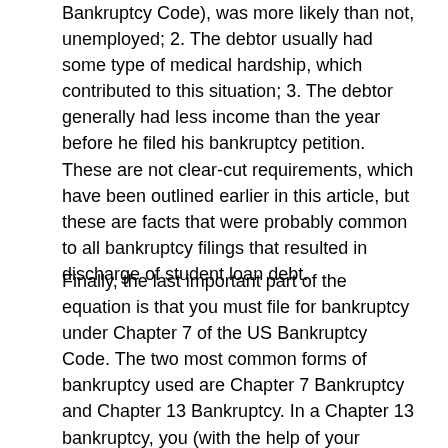Bankruptcy Code), was more likely than not, unemployed; 2. The debtor usually had some type of medical hardship, which contributed to this situation; 3. The debtor generally had less income than the year before he filed his bankruptcy petition. These are not clear-cut requirements, which have been outlined earlier in this article, but these are facts that were probably common to all bankruptcy filings that resulted in discharge of student loan debt.
Finally, the last important part of the equation is that you must file for bankruptcy under Chapter 7 of the US Bankruptcy Code. The two most common forms of bankruptcy used are Chapter 7 Bankruptcy and Chapter 13 Bankruptcy. In a Chapter 13 bankruptcy, you (with the help of your attorney) set up a debt payment plan (which must be accepted by the Bankruptcy Court), in which you pay a portion of your unsecured debt based on your income and expenses, in a period of three years. to the five-year period. In a Chapter 7 bankruptcy, you are allowed immediate discharge of these